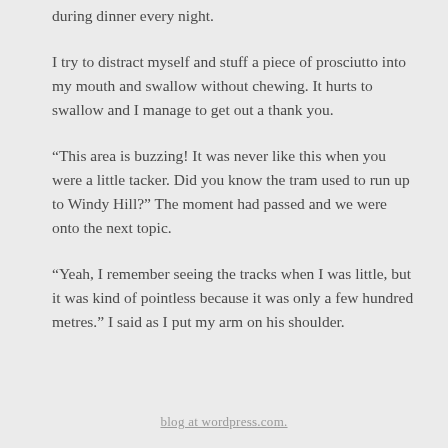during dinner every night.
I try to distract myself and stuff a piece of prosciutto into my mouth and swallow without chewing. It hurts to swallow and I manage to get out a thank you.
“This area is buzzing! It was never like this when you were a little tacker. Did you know the tram used to run up to Windy Hill?” The moment had passed and we were onto the next topic.
“Yeah, I remember seeing the tracks when I was little, but it was kind of pointless because it was only a few hundred metres.” I said as I put my arm on his shoulder.
blog at wordpress.com.